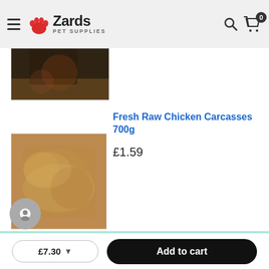Zards Pet Supplies — navigation header with hamburger menu, logo, search and cart icons
[Figure (photo): Partially cropped product image at top, dark background with animal product]
Fresh Raw Chicken Carcasses 700g
£1.59
[Figure (photo): Blurred product photo of raw chicken carcasses]
[Figure (infographic): Mint green promotional banner with blurred promotional text]
£7.30
Add to cart